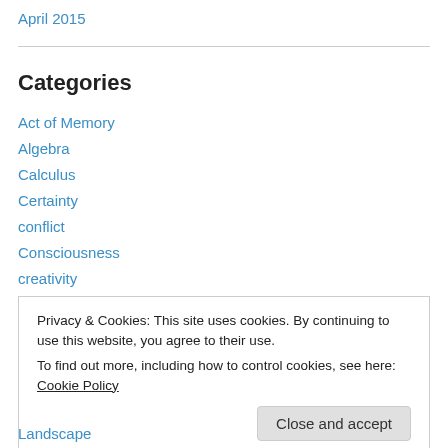April 2015
Categories
Act of Memory
Algebra
Calculus
Certainty
conflict
Consciousness
creativity
Dance
Privacy & Cookies: This site uses cookies. By continuing to use this website, you agree to their use. To find out more, including how to control cookies, see here: Cookie Policy
Landscape